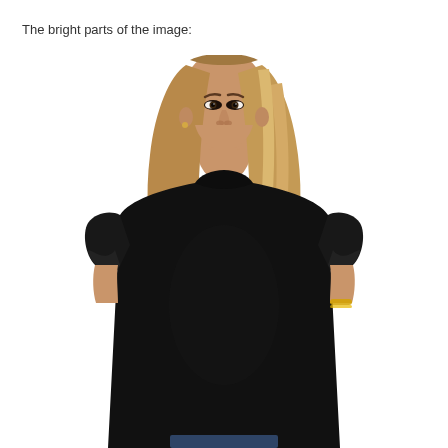The bright parts of the image:
[Figure (photo): A woman with long straight blonde hair wearing a black short-sleeve crew-neck t-shirt with rolled sleeves, standing against a white background. She is shown from roughly the waist up, with a neutral expression. A gold bracelet is visible on her right wrist.]